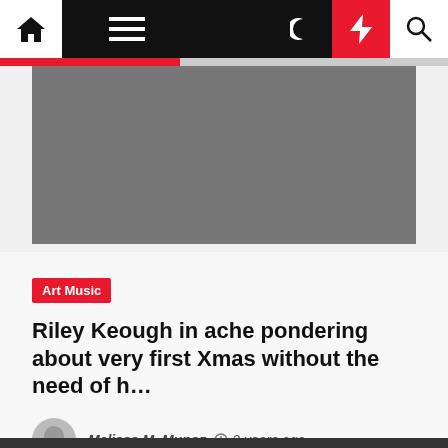Navigation bar with home, menu, dark mode, lightning, and search icons
[Figure (photo): Gray placeholder image for article thumbnail]
Art Music
Riley Keough in ache pondering about very first Xmas without the need of h…
Melissa M. Munoz  2 years ago